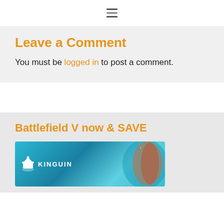≡
Leave a Comment
You must be logged in to post a comment.
Battlefield V now & SAVE
[Figure (photo): Kinguin advertisement banner for Battlefield V showing a character and the Kinguin logo with crown icon]